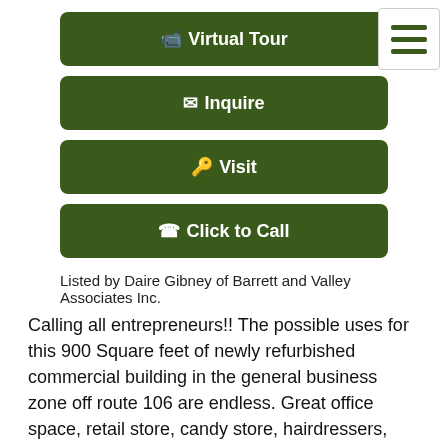[Figure (infographic): Green button: Virtual Tour with video camera icon]
[Figure (infographic): Green button: Inquire with envelope icon]
[Figure (infographic): Green button: Visit with key icon]
[Figure (infographic): Green button: Click to Call with phone icon]
Listed by Daire Gibney of Barrett and Valley Associates Inc.
Calling all entrepreneurs!! The possible uses for this 900 Square feet of newly refurbished commercial building in the general business zone off route 106 are endless. Great office space, retail store, candy store, hairdressers, antiques store, workshop or whatever your dream for a new business might be. This is the ideal location at a great price. Located on a busy state road with good visibility & long stopping site